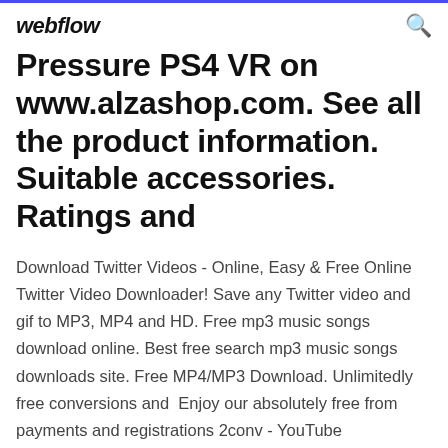webflow
Pressure PS4 VR on www.alzashop.com. See all the product information. Suitable accessories. Ratings and
Download Twitter Videos - Online, Easy & Free Online Twitter Video Downloader! Save any Twitter video and gif to MP3, MP4 and HD. Free mp3 music songs download online. Best free search mp3 music songs downloads site. Free MP4/MP3 Download. Unlimitedly free conversions and  Enjoy our absolutely free from payments and registrations 2conv - YouTube downloader.It converts music just in few seconds! Our service supports almost any